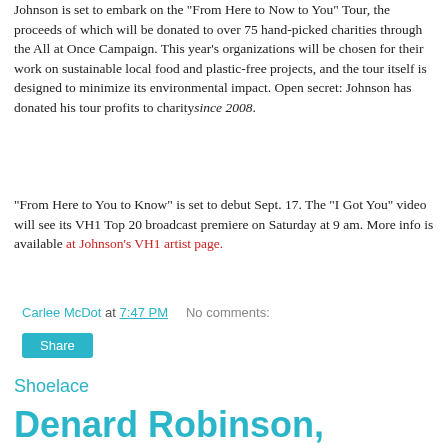Johnson is set to embark on the "From Here to Now to You" Tour, the proceeds of which will be donated to over 75 hand-picked charities through the All at Once Campaign. This year's organizations will be chosen for their work on sustainable local food and plastic-free projects, and the tour itself is designed to minimize its environmental impact. Open secret: Johnson has donated his tour profits to charity since 2008.
"From Here to You to Know" is set to debut Sept. 17. The "I Got You" video will see its VH1 Top 20 broadcast premiere on Saturday at 9 am. More info is available at Johnson's VH1 artist page.
Carlee McDot at 7:47 PM   No comments:
Share
Shoelace
Denard Robinson, Offensive Weapon